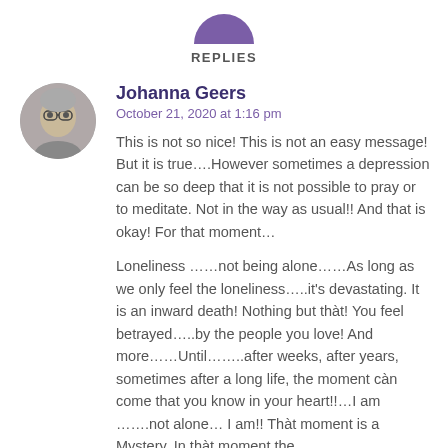[Figure (photo): Partial purple avatar/icon at top center of page, cropped at top]
REPLIES
[Figure (photo): Circular profile photo of an older woman with glasses and grey hair]
Johanna Geers
October 21, 2020 at 1:16 pm
This is not so nice! This is not an easy message! But it is true….However sometimes a depression can be so deep that it is not possible to pray or to meditate. Not in the way as usual!! And that is okay! For that moment…
Loneliness ……not being alone……As long as we only feel the loneliness…..it's devastating. It is an inward death! Nothing but thàt! You feel betrayed…..by the people you love! And more……Until……..after weeks, after years, sometimes after a long life, the moment càn come that you know in your heart!!…I am …….not alone… I am!! Thàt moment is a Mystery. In thàt moment the